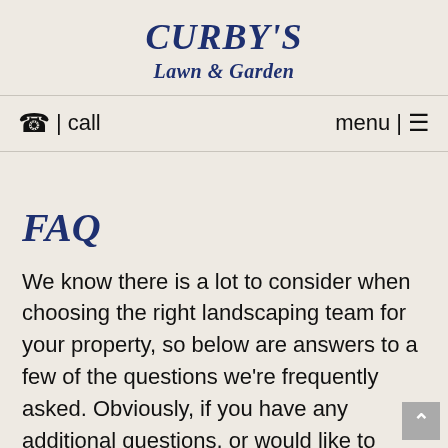CURBY'S Lawn & Garden
call  |  menu
FAQ
We know there is a lot to consider when choosing the right landscaping team for your property, so below are answers to a few of the questions we're frequently asked. Obviously, if you have any additional questions, or would like to speak to us about our landscape design, installation or